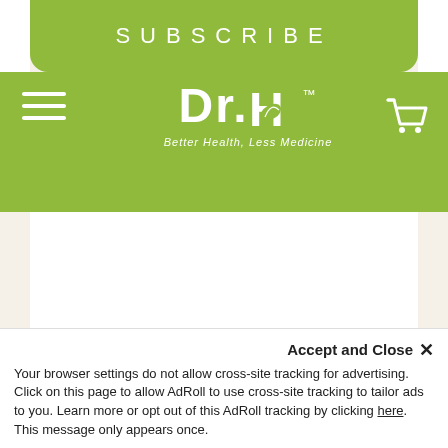SUBSCRIBE
[Figure (logo): Dr.H Better Health, Less Medicine logo with leaf graphic, white text on green background, with hamburger menu and cart icon]
Your browser settings do not allow cross-site tracking for advertising. Click on this page to allow AdRoll to use cross-site tracking to tailor ads to you. Learn more or opt out of this AdRoll tracking by clicking here. This message only appears once.